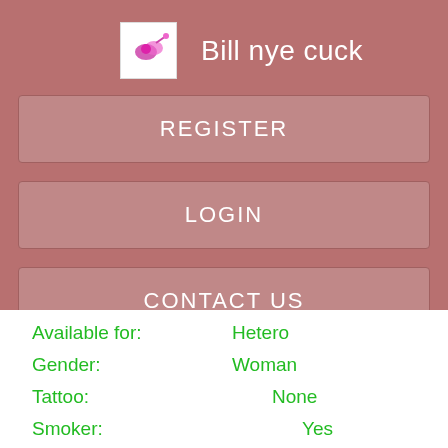Bill nye cuck
REGISTER
LOGIN
CONTACT US
Available for: Hetero
Gender: Woman
Tattoo: None
Smoker: Yes
Views: 6260